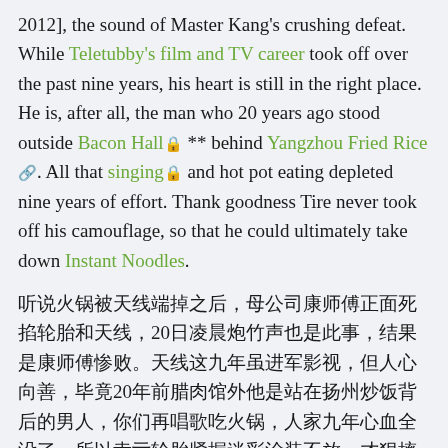2012], the sound of Master Kang's crushing defeat. While Teletubby's film and TV career took off over the past nine years, his heart is still in the right place. He is, after all, the man who 20 years ago stood outside Bacon Hall 🔒 ** behind Yangzhou Fried Rice 🔗. All that singing 🔒 and hot pot eating depleted nine years of effort. Thank goodness Tire never took off his camouflage, so that he could ultimately take down Instant Noodles.
听说火锅被天线端掉之后，母公司康师傅正面死掐轮胎和天线，20日凌晨炮竹声也是此事，结果是康师傅惨败。天线这九年虽进军影视，但人心向善，毕竟20年前腊肉馆外他是站在扬州炒饭背后的男人，你们再唱歌吃火锅，人家九年心血全没了，所以幸亏轮胎紧握迷彩涂装不放，才狠摔方便面。[Chinese 🔒]